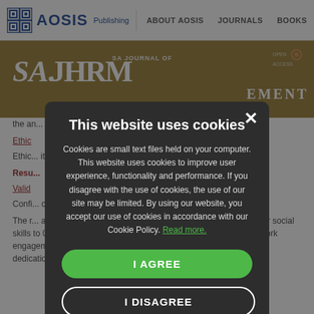AOSIS Publishing | ABOUT AOSIS | JOURNALS | BOOKS
SA.JHRM | SA JOURNAL OF ... EMENT
the an... propo...
Ethic... Ethic... ity of the...
Resu...
Valid...
Confi... confi... enga... relia... nts.
The r... as good intelli... dimensions was good, ranging from 0.705 for social skills to 0.820 for motivation. The reliability scores associated with work engagement dimensions may be regarded as good (vigour = 0.776, dedication = 0.840, absorption = 0.798).
[Figure (screenshot): Cookie consent modal dialog on AOSIS Publishing academic journal website. Modal has dark background with title 'This website uses cookies', description text about cookie policy, green 'I AGREE' button and white-outlined 'I DISAGREE' button.]